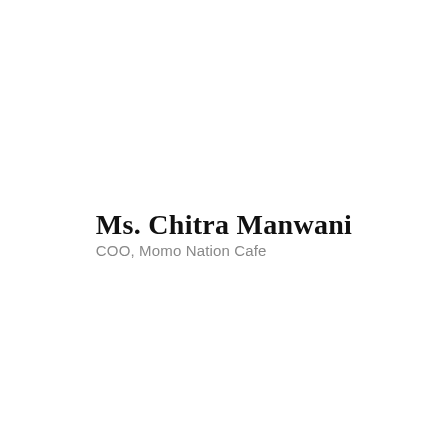Ms. Chitra Manwani
COO, Momo Nation Cafe